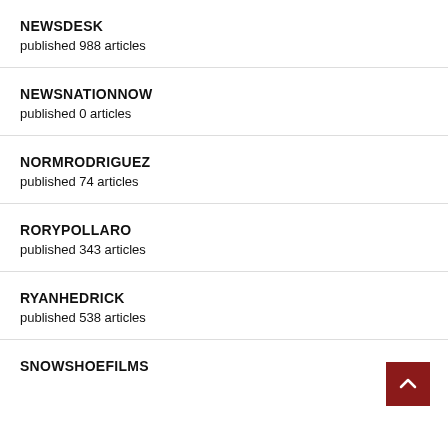NEWSDESK
published 988 articles
NEWSNATIONNOW
published 0 articles
NORMRODRIGUEZ
published 74 articles
RORYPOLLARO
published 343 articles
RYANHEDRICK
published 538 articles
SNOWSHOEFILMS